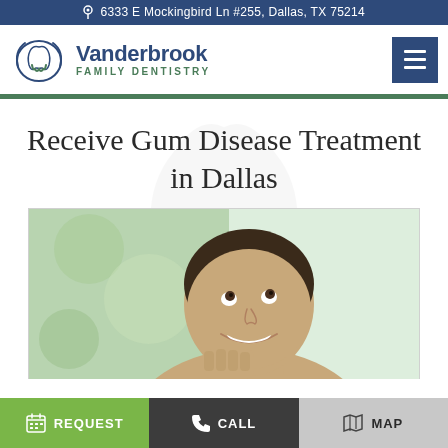6333 E Mockingbird Ln #255, Dallas, TX 75214
[Figure (logo): Vanderbrook Family Dentistry logo with tooth icon in green and blue]
Receive Gum Disease Treatment in Dallas
[Figure (photo): Smiling woman with dark hair pulled back, looking upward, holding her face with hands, white teeth visible]
REQUEST   CALL   MAP